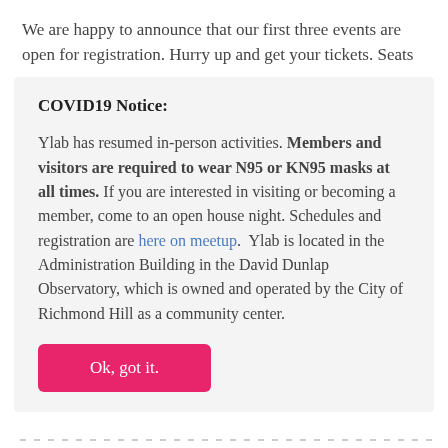We are happy to announce that our first three events are open for registration. Hurry up and get your tickets. Seats
COVID19 Notice:
Ylab has resumed in-person activities. Members and visitors are required to wear N95 or KN95 masks at all times. If you are interested in visiting or becoming a member, come to an open house night. Schedules and registration are here on meetup.  Ylab is located in the Administration Building in the David Dunlap Observatory, which is owned and operated by the City of Richmond Hill as a community center.
Ok, got it.